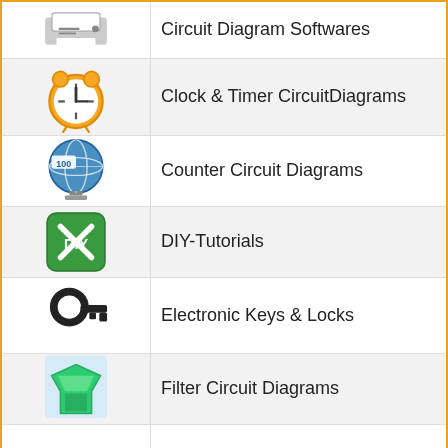Circuit Diagram Softwares
Clock & Timer CircuitDiagrams
Counter Circuit Diagrams
DIY-Tutorials
Electronic Keys & Locks
Filter Circuit Diagrams
Fire Alarm
Fun & Game CircuitDiagrams